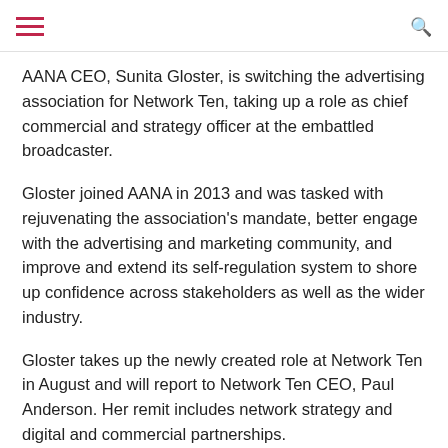hamburger menu | search icon
AANA CEO, Sunita Gloster, is switching the advertising association for Network Ten, taking up a role as chief commercial and strategy officer at the embattled broadcaster.
Gloster joined AANA in 2013 and was tasked with rejuvenating the association's mandate, better engage with the advertising and marketing community, and improve and extend its self-regulation system to shore up confidence across stakeholders as well as the wider industry.
Gloster takes up the newly created role at Network Ten in August and will report to Network Ten CEO, Paul Anderson. Her remit includes network strategy and digital and commercial partnerships.
The AANA has brought on executive recruitment company, Hourigan International, to seek out Gloster's replacement as CEO.
Announcing her appointment, Anderson said the new role was